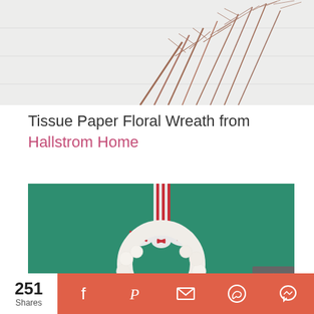[Figure (photo): Top portion of a decorative image showing dried branches or twigs against a light white/grey background]
Tissue Paper Floral Wreath from Hallstrom Home
[Figure (photo): A marshmallow wreath decorated with white mini marshmallows arranged in a circle with a red and white striped ribbon and bow, displayed against a teal/green background]
251 Shares